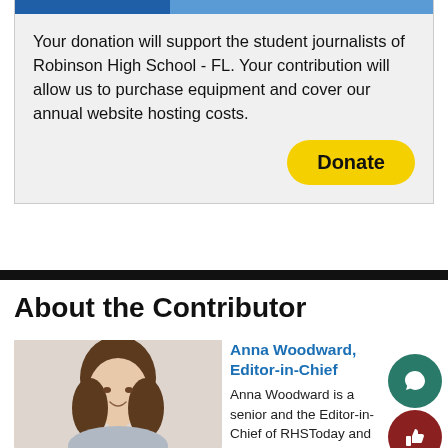Your donation will support the student journalists of Robinson High School - FL. Your contribution will allow us to purchase equipment and cover our annual website hosting costs.
Donate
About the Contributor
Anna Woodward, Editor-in-Chief
Anna Woodward is a senior and the Editor-in-Chief of RHSToday and Knight Writers. This is her second year as an editor and
[Figure (photo): Headshot photo of Anna Woodward, a young woman with long brown hair, smiling]